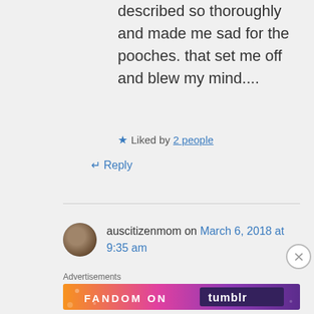described so thoroughly and made me sad for the pooches. that set me off and blew my mind....
★ Liked by 2 people
↵ Reply
auscitizenmom on March 6, 2018 at 9:35 am
Advertisements
[Figure (illustration): Fandom on Tumblr advertisement banner with colorful orange to purple gradient background and white decorative elements]